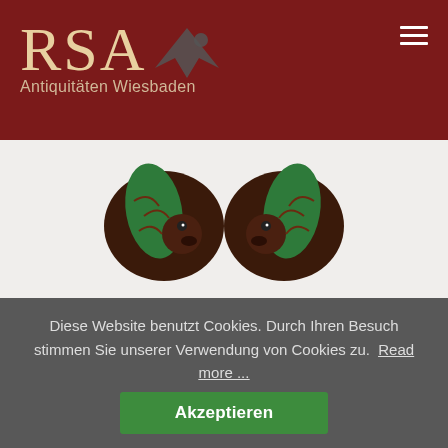RSA Antiquitäten Wiesbaden
[Figure (photo): Two faience parrot figurines glazed in green and brown, viewed from above/front, showing decorative ceramic birds]
Nr.2024
Pair of faience parrots
Persia, 18th century, faience, glazed green and brown ...
Diese Website benutzt Cookies. Durch Ihren Besuch stimmen Sie unserer Verwendung von Cookies zu. Read more ...
Akzeptieren